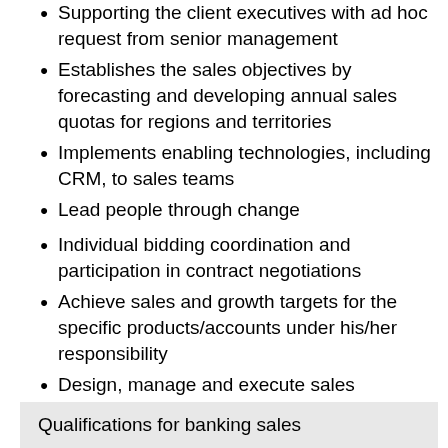Supporting the client executives with ad hoc request from senior management
Establishes the sales objectives by forecasting and developing annual sales quotas for regions and territories
Implements enabling technologies, including CRM, to sales teams
Lead people through change
Individual bidding coordination and participation in contract negotiations
Achieve sales and growth targets for the specific products/accounts under his/her responsibility
Design, manage and execute sales campaigns/projects to generate leads and accelerate sales growth
Qualifications for banking sales